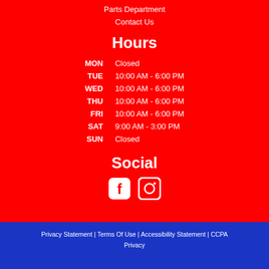Parts Department
Contact Us
Hours
| Day | Hours |
| --- | --- |
| MON | Closed |
| TUE | 10:00 AM - 6:00 PM |
| WED | 10:00 AM - 6:00 PM |
| THU | 10:00 AM - 6:00 PM |
| FRI | 10:00 AM - 6:00 PM |
| SAT | 9:00 AM - 3:00 PM |
| SUN | Closed |
Social
[Figure (other): Facebook and Instagram social media icons]
Privacy Statement | Terms Of Use | Accessibility Statement | CCPA Privacy